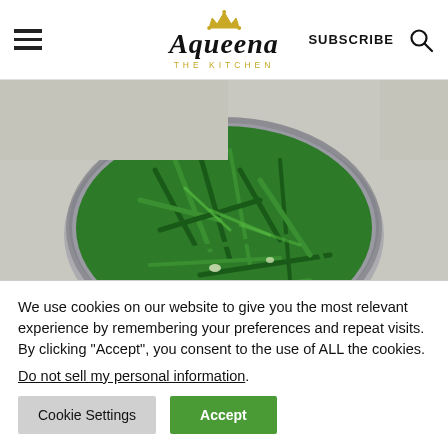Aqueena THE KITCHEN | SUBSCRIBE
[Figure (photo): Overhead view of fresh green beans in a large oval metal colander or strainer, on a light concrete/stone surface]
We use cookies on our website to give you the most relevant experience by remembering your preferences and repeat visits. By clicking “Accept”, you consent to the use of ALL the cookies. Do not sell my personal information.
Cookie Settings | Accept